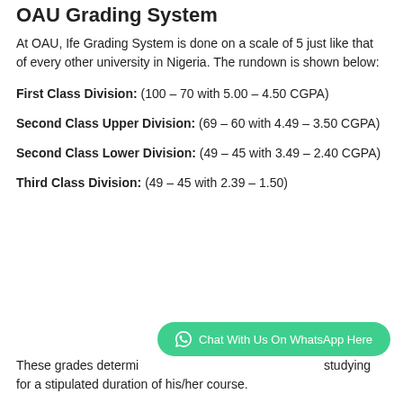OAU Grading System
At OAU, Ife Grading System is done on a scale of 5 just like that of every other university in Nigeria. The rundown is shown below:
First Class Division: (100 – 70 with 5.00 – 4.50 CGPA)
Second Class Upper Division: (69 – 60 with 4.49 – 3.50 CGPA)
Second Class Lower Division: (49 – 45 with 3.49 – 2.40 CGPA)
Third Class Division: (49 – 45 with 2.39 – 1.50)
These grades determine studying for a stipulated duration of his/her course.